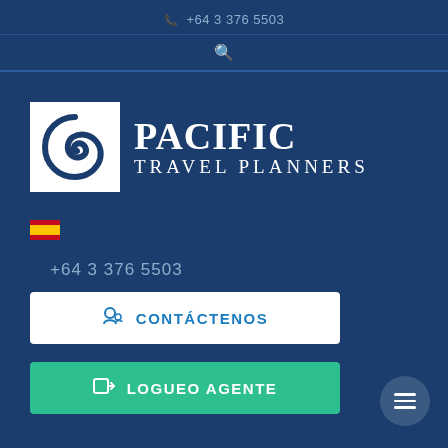+64 3 376 5503
[Figure (logo): Pacific Travel Planners logo with spiral icon and text]
[Figure (illustration): Spanish flag emoji]
+64 3 376 5503
CONTÁCTENOS
LOGUEO AGENTE